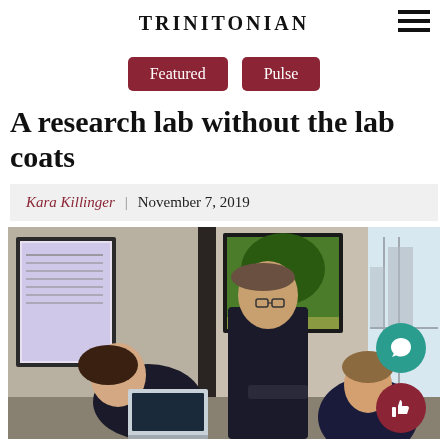TRINITONIAN
Featured
Pulse
A research lab without the lab coats
Kara Killinger | November 7, 2019
[Figure (photo): A professor leaning over to assist two female students working at a table with laptops, in an office or classroom setting with artwork and a window in the background.]